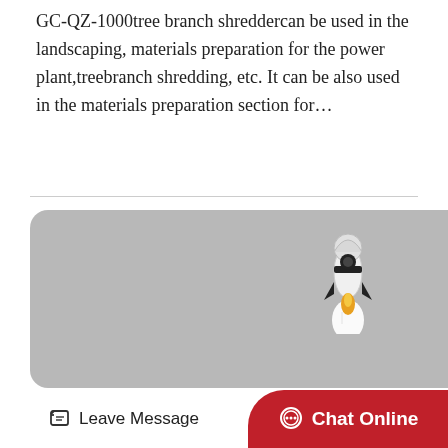GC-QZ-1000tree branch shreddercan be used in the landscaping, materials preparation for the power plant,treebranch shredding, etc. It can be also used in the materials preparation section for…
[Figure (illustration): Gray rounded-rectangle image area (placeholder/loading state) with a rocket ship illustration in the lower-right area of the image.]
Leave Message
Chat Online